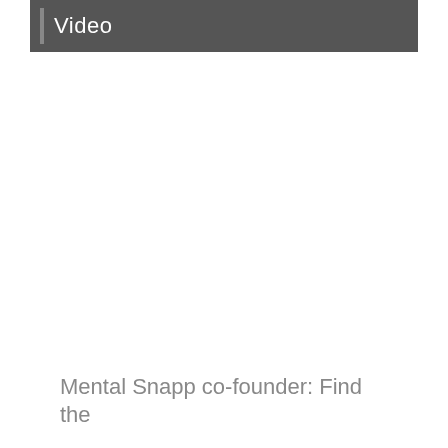Video
Mental Snapp co-founder: Find the